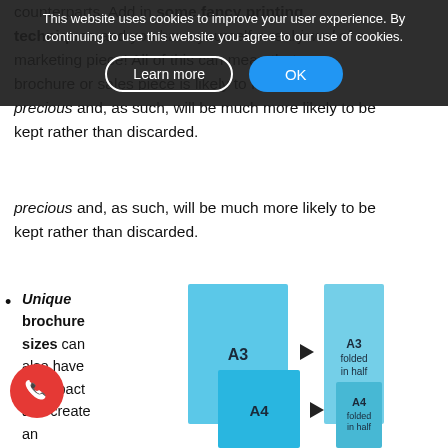counterparts. Add in some fancy printing techniques and you have yourself a real jewel of a marketing piece! All of this can mean that your brochure or sales piece is likely to feel more precious and, as such, will be much more likely to be kept rather than discarded.
This website uses cookies to improve your user experience. By continuing to use this website you agree to our use of cookies.
Unique brochure sizes can also have an impact and create an impression on your prospects. So,
[Figure (infographic): Diagram showing A3 paper folded in half and A4 paper folded in half, with arrows indicating the folding process. A3 large light blue rectangle with arrow pointing to A3 folded in half (narrower rectangle). A4 medium blue rectangle with arrow pointing to A4 folded in half (smaller rectangle).]